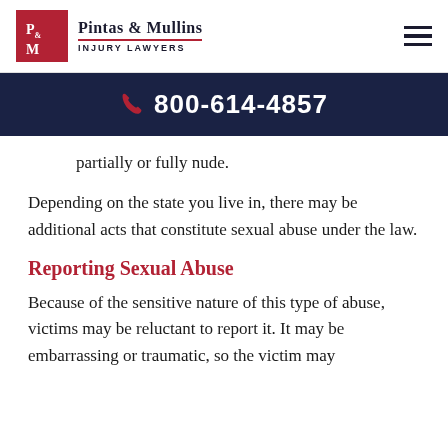Pintas & Mullins Injury Lawyers | 800-614-4857
partially or fully nude.
Depending on the state you live in, there may be additional acts that constitute sexual abuse under the law.
Reporting Sexual Abuse
Because of the sensitive nature of this type of abuse, victims may be reluctant to report it. It may be embarrassing or traumatic, so the victim may